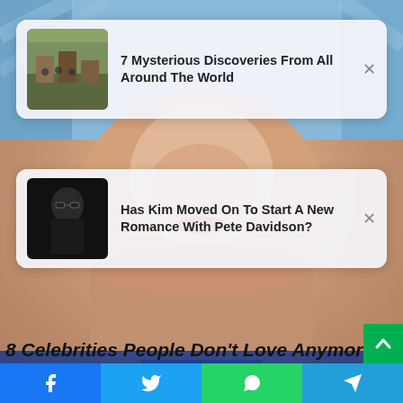[Figure (screenshot): Background photo of a smiling blonde woman in blue dress with blurred blue background, celebrity news website screenshot]
7 Mysterious Discoveries From All Around The World
Has Kim Moved On To Start A New Romance With Pete Davidson?
8 Celebrities People Don't Love Anymore
[Figure (infographic): Bottom share bar with Facebook, Twitter, WhatsApp, and Telegram icons]